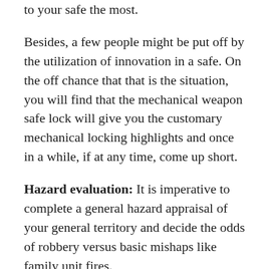to your safe the most.
Besides, a few people might be put off by the utilization of innovation in a safe. On the off chance that that is the situation, you will find that the mechanical weapon safe lock will give you the customary mechanical locking highlights and once in a while, if at any time, come up short.
Hazard evaluation: It is imperative to complete a general hazard appraisal of your general territory and decide the odds of robbery versus basic mishaps like family unit fires.
Heat proof safes might be simpler to tear open with power, however they will secure your profitable things